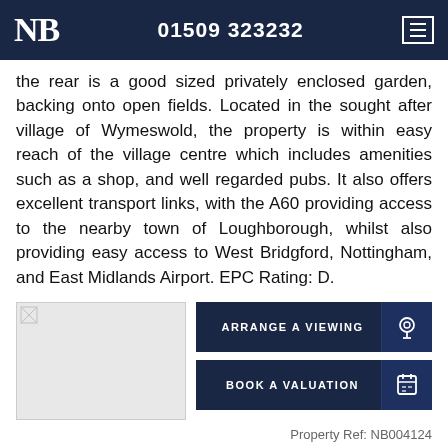NB 01509 323232
the rear is a good sized privately enclosed garden, backing onto open fields. Located in the sought after village of Wymeswold, the property is within easy reach of the village centre which includes amenities such as a shop, and well regarded pubs. It also offers excellent transport links, with the A60 providing access to the nearby town of Loughborough, whilst also providing easy access to West Bridgford, Nottingham, and East Midlands Airport. EPC Rating: D.
[Figure (photo): Property photo placeholder]
ARRANGE A VIEWING
BOOK A VALUATION
Property Ref: NB004124
PHOTOS